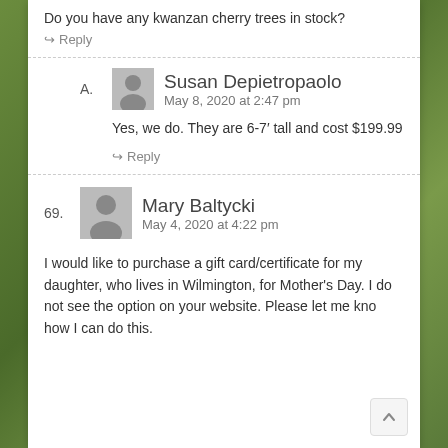Do you have any kwanzan cherry trees in stock?
↪ Reply
A. Susan Depietropaolo
May 8, 2020 at 2:47 pm
Yes, we do. They are 6-7′ tall and cost $199.99
↪ Reply
69. Mary Baltycki
May 4, 2020 at 4:22 pm
I would like to purchase a gift card/certificate for my daughter, who lives in Wilmington, for Mother's Day. I do not see the option on your website. Please let me know how I can do this.